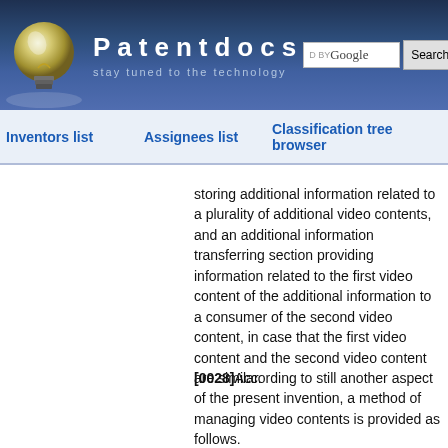Patentdocs — stay tuned to the technology
Inventors list | Assignees list | Classification tree browser
storing additional information related to a plurality of additional video contents, and an additional information transferring section providing information related to the first video content of the additional information to a consumer of the second video content, in case that the first video content and the second video content are similar.
[0028]According to still another aspect of the present invention, a method of managing video contents is provided as follows.